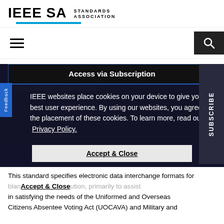[Figure (logo): IEEE SA Standards Association logo with blue underline bar]
[Figure (screenshot): Navigation bar with hamburger menu icon on left and search icon button on right dark background]
Access via Subscription
IEEE websites place cookies on your device to give you the best user experience. By using our websites, you agree to the placement of these cookies. To learn more, read our Privacy Policy.
Accept & Close
This standard specifies electronic data interchange formats for blank distribution, primarily to assist in satisfying the needs of the Uniformed and Overseas Citizens Absentee Voting Act (UOCAVA) and Military and